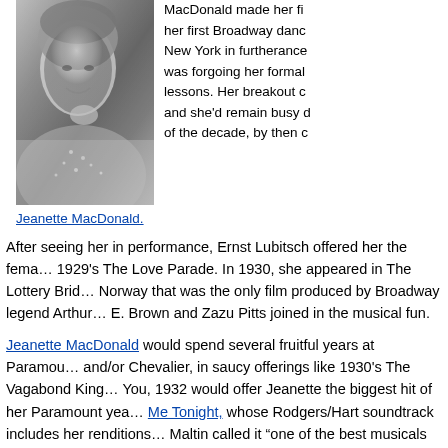[Figure (photo): Black and white portrait photograph of Jeanette MacDonald, smiling, wearing a beaded or jeweled dress, posed with hand near chin.]
MacDonald made her fi... her first Broadway danc... New York in furtherance... was forgoing her formal... lessons. Her breakout c... and she'd remain busy ... of the decade, by then c...
Jeanette MacDonald.
After seeing her in performance, Ernst Lubitsch offered her the fema... 1929's The Love Parade. In 1930, she appeared in The Lottery Brid... Norway that was the only film produced by Broadway legend Arthur... E. Brown and Zazu Pitts joined in the musical fun.
Jeanette MacDonald would spend several fruitful years at Paramou... and/or Chevalier, in saucy offerings like 1930's The Vagabond King... You, 1932 would offer Jeanette the biggest hit of her Paramount yea... Me Tonight, whose Rodgers/Hart soundtrack includes her renditions... Maltin called it “one of the best musicals ever made!” After her contr... a brief hiatus from the cinema for a concert tour of Europe.
By then, MGM's Irving Thalberg was anticipating a surge in the mus...